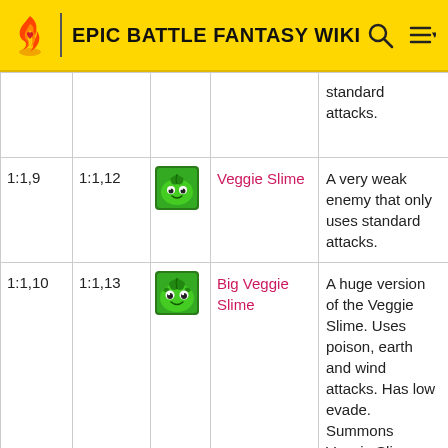EPIC BATTLE FANTASY WIKI
|  |  |  | Name | Description |
| --- | --- | --- | --- | --- |
|  |  |  |  | standard attacks. |
| 1:1,9 | 1:1,12 | [Veggie Slime sprite] | Veggie Slime | A very weak enemy that only uses standard attacks. |
| 1:1,10 | 1:1,13 | [Big Veggie Slime sprite] | Big Veggie Slime | A huge version of the Veggie Slime. Uses poison, earth and wind attacks. Has low evade. Summons Veggie Slimes. |